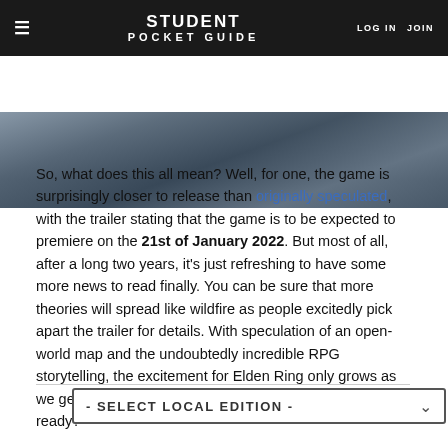STUDENT POCKET GUIDE | LOG IN | JOIN
[Figure (photo): Dark atmospheric game screenshot showing rocky terrain with misty/foggy environment]
So, what does this all mean? Well, for one, the game is surprisingly closer to release than originally speculated, with the trailer stating that the game is to be expected to premiere on the 21st of January 2022. But most of all, after a long two years, it's just refreshing to have some more news to read finally. You can be sure that more theories will spread like wildfire as people excitedly pick apart the trailer for details. With speculation of an open-world map and the undoubtedly incredible RPG storytelling, the excitement for Elden Ring only grows as we get closer to the OFFICIAL release date. Are you ready?
By Skylar Grace
- SELECT LOCAL EDITION -